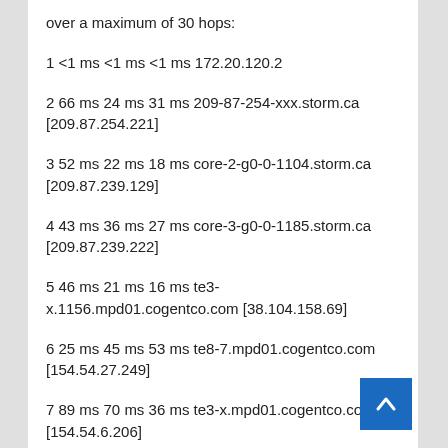over a maximum of 30 hops:
1 <1 ms <1 ms <1 ms 172.20.120.2
2 66 ms 24 ms 31 ms 209-87-254-xxx.storm.ca [209.87.254.221]
3 52 ms 22 ms 18 ms core-2-g0-0-1104.storm.ca [209.87.239.129]
4 43 ms 36 ms 27 ms core-3-g0-0-1185.storm.ca [209.87.239.222]
5 46 ms 21 ms 16 ms te3-x.1156.mpd01.cogentco.com [38.104.158.69]
6 25 ms 45 ms 53 ms te8-7.mpd01.cogentco.com [154.54.27.249]
7 89 ms 70 ms 36 ms te3-x.mpd01.cogentco.com [154.54.6.206]
8 55 ms 77 ms 58 ms sl-st30-chi-.sprintlink.net